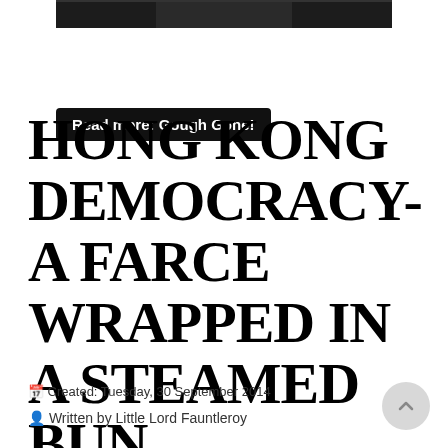[Figure (photo): Partial black and white photo of a person in a suit and tie, cropped at the top of the page]
Read more: Gough Gone!
HONG KONG DEMOCRACY- A FARCE WRAPPED IN A STEAMED BUN
Created: Tuesday, 30 September 2014
Written by Little Lord Fauntleroy